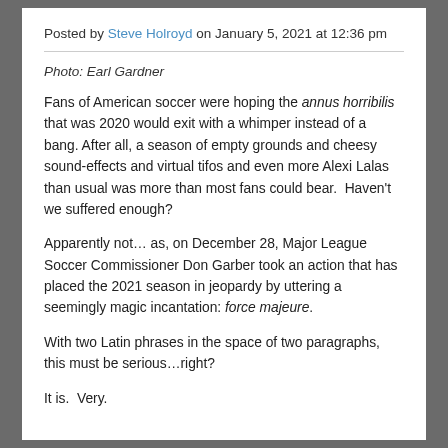Posted by Steve Holroyd on January 5, 2021 at 12:36 pm
Photo: Earl Gardner
Fans of American soccer were hoping the annus horribilis that was 2020 would exit with a whimper instead of a bang. After all, a season of empty grounds and cheesy sound-effects and virtual tifos and even more Alexi Lalas than usual was more than most fans could bear.  Haven't we suffered enough?
Apparently not… as, on December 28, Major League Soccer Commissioner Don Garber took an action that has placed the 2021 season in jeopardy by uttering a seemingly magic incantation: force majeure.
With two Latin phrases in the space of two paragraphs, this must be serious…right?
It is.  Very.